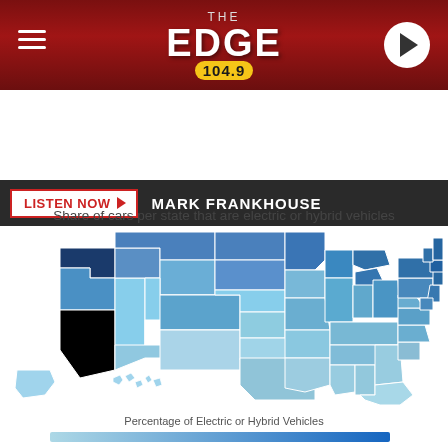[Figure (logo): The Edge 104.9 radio station logo on dark red background with hamburger menu icon on left and circular play button on right]
LISTEN NOW ▶  MARK FRANKHOUSE
[Figure (other): Facebook Share button (dark blue) and Twitter Tweet button (light blue)]
Share of cars per state that are electric or hybrid vehicles
[Figure (map): Choropleth map of the United States showing share of cars per state that are electric or hybrid vehicles. California is shown in black (highest), Washington state in dark navy, other western and northeastern states in darker blue, and most central/southern states in lighter blue.]
Percentage of Electric or Hybrid Vehicles